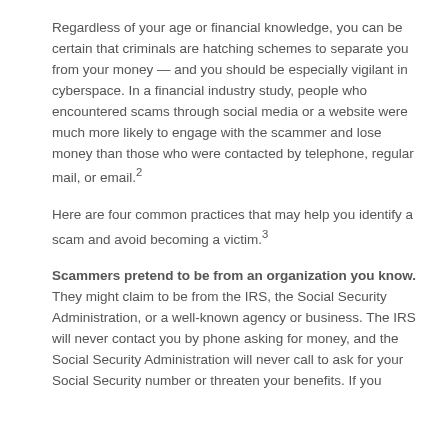Regardless of your age or financial knowledge, you can be certain that criminals are hatching schemes to separate you from your money — and you should be especially vigilant in cyberspace. In a financial industry study, people who encountered scams through social media or a website were much more likely to engage with the scammer and lose money than those who were contacted by telephone, regular mail, or email.²
Here are four common practices that may help you identify a scam and avoid becoming a victim.³
Scammers pretend to be from an organization you know. They might claim to be from the IRS, the Social Security Administration, or a well-known agency or business. The IRS will never contact you by phone asking for money, and the Social Security Administration will never call to ask for your Social Security number or threaten your benefits. If you